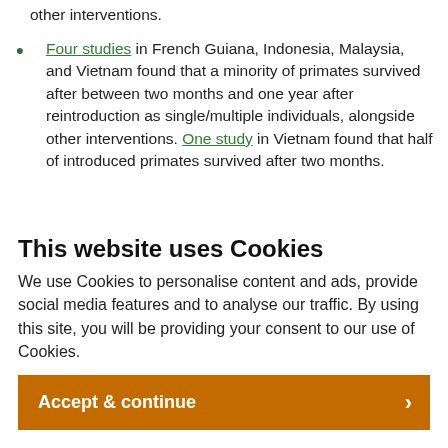other interventions.
Four studies in French Guiana, Indonesia, Malaysia, and Vietnam found that a minority of primates survived after between two months and one year after reintroduction as single/multiple individuals, alongside other interventions. One study in Vietnam found that half of introduced primates survived after two months.
One study in Brazil found that an abandoned infant
This website uses Cookies
We use Cookies to personalise content and ads, provide social media features and to analyse our traffic. By using this site, you will be providing your consent to our use of Cookies.
Accept & continue